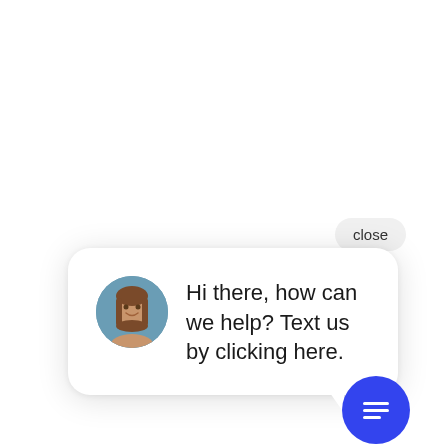close
[Figure (screenshot): Chat widget popup showing a circular avatar of a woman and message text: 'Hi there, how can we help? Text us by clicking here.']
Hi there, how can we help? Text us by clicking here.